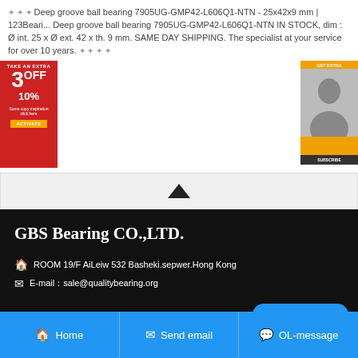🌟🌟🌟 Deep groove ball bearing 7905UG-GMP42-L606Q1-NTN - 25x42x9 mm | 123Beari... Deep groove ball bearing 7905UG-GMP42-L606Q1-NTN IN STOCK, dim : Ø int. 25 x Ø ext. 42 x th. 9 mm. SAME DAY SHIPPING. The specialist at your service for over 10 years. 🌟🌟🌟🌟
[Figure (other): Advertisement banner: red background, '3 OFF 10%' promotional ad with button]
[Figure (other): Advertisement banner: orange background with person photo and button]
[Figure (other): Collapse/scroll-up chevron button bar]
GBS Bearing CO.,LTD.
ROOM 19/F AiLeiw 532 Basheki.sepwer.Hong Kong
E-mail：sale@qualitybearing.org
[Figure (other): Blue contact button with smiley icon and 'contact' text]
Home  Send email  OL-message